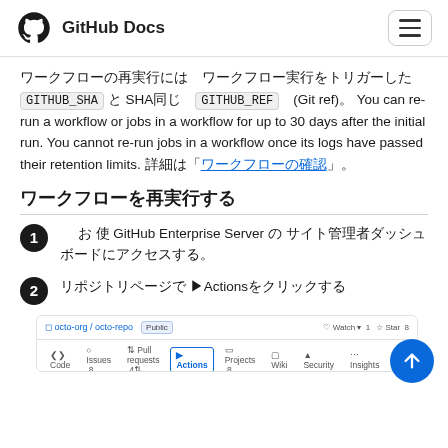GitHub Docs
ワークフローの再実行に使用するコミットSHAとGITHUB_SHA（現在のSHAのGITHUB_REF（Git ref）。You can re-run a workflow or jobs in a workflow for up to 30 days after the initial run. You cannot re-run jobs in a workflow once its logs have passed their retention limits。詳細については「ワークフロー実行の管理」を参照。
ワークフローを再実行する
1 お 使 GitHub Enterprise Server の サイト管理者ダッシュボードにアクセスする。
2 リポジトリページで ▶Actionsをクリックする
[Figure (screenshot): GitHub repository page screenshot showing the Actions tab selected in the navigation bar, with tabs: Code, Issues, Pull requests, Actions (active), Projects, Wiki, Security, Insights, Settings]